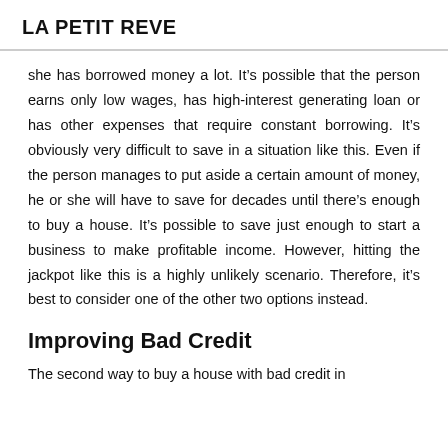LA PETIT REVE
she has borrowed money a lot. It’s possible that the person earns only low wages, has high-interest generating loan or has other expenses that require constant borrowing. It’s obviously very difficult to save in a situation like this. Even if the person manages to put aside a certain amount of money, he or she will have to save for decades until there’s enough to buy a house. It’s possible to save just enough to start a business to make profitable income. However, hitting the jackpot like this is a highly unlikely scenario. Therefore, it’s best to consider one of the other two options instead.
Improving Bad Credit
The second way to buy a house with bad credit in